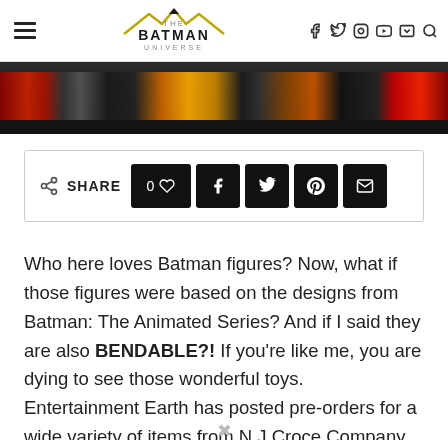THE BATMAN UNIVERSE
[Figure (photo): Colorful Batman action figures displayed against dark background]
SHARE  0♡  f  🐦   Pinterest  Email
Who here loves Batman figures? Now, what if those figures were based on the designs from Batman: The Animated Series? And if I said they are also BENDABLE?! If you're like me, you are dying to see those wonderful toys. Entertainment Earth has posted pre-orders for a wide variety of items from N.J Croce Company that will satisfy your